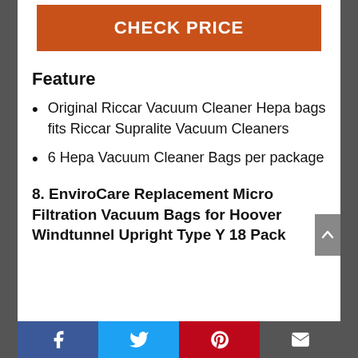CHECK PRICE
Feature
Original Riccar Vacuum Cleaner Hepa bags fits Riccar Supralite Vacuum Cleaners
6 Hepa Vacuum Cleaner Bags per package
8. EnviroCare Replacement Micro Filtration Vacuum Bags for Hoover Windtunnel Upright Type Y 18 Pack